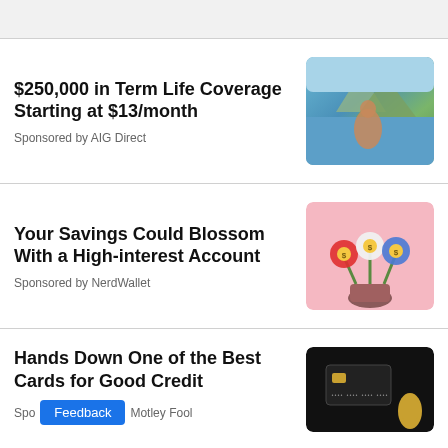[Figure (photo): Gray top bar area]
$250,000 in Term Life Coverage Starting at $13/month
Sponsored by AIG Direct
[Figure (photo): Mother and child outdoors near mountains and lake]
Your Savings Could Blossom With a High-interest Account
Sponsored by NerdWallet
[Figure (illustration): Colorful flower illustration with dollar sign flowers in a pot on pink background]
Hands Down One of the Best Cards for Good Credit
Sponsored by Motley Fool
[Figure (photo): Dark background with credit card and golden hand]
Feedback